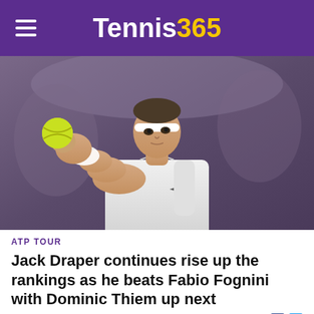Tennis365
[Figure (photo): A male tennis player wearing a white headband and white polo shirt tosses a yellow tennis ball upward in preparation to serve, with a blurred indoor arena background.]
ATP TOUR
Jack Draper continues rise up the rankings as he beats Fabio Fognini with Dominic Thiem up next